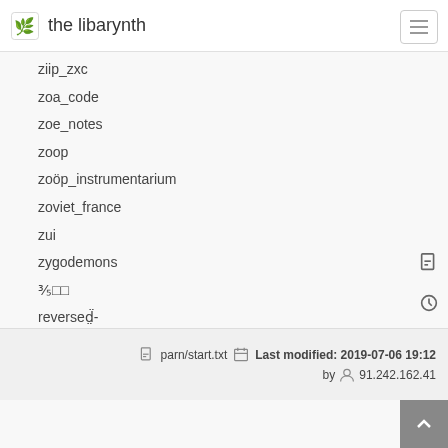the libarynth
ziip_zxc
zoa_code
zoe_notes
zoop
zoöp_instrumentarium
zoviet_france
zui
zygodemons
⅗□□
reversed̈̈
□□
□□□□□
parn/start.txt  Last modified: 2019-07-06 19:12 by 91.242.162.41